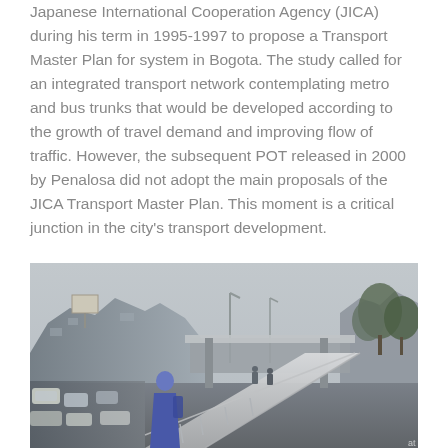Japanese International Cooperation Agency (JICA) during his term in 1995-1997 to propose a Transport Master Plan for system in Bogota. The study called for an integrated transport network contemplating metro and bus trunks that would be developed according to the growth of travel demand and improving flow of traffic. However, the subsequent POT released in 2000 by Penalosa did not adopt the main proposals of the JICA Transport Master Plan. This moment is a critical junction in the city's transport development.
[Figure (photo): Street-level photograph of a Bogota transportation corridor showing a pedestrian overpass/walkway, heavy traffic with cars on the left side, urban buildings and billboards in the background, trees on the right, and a person in a blue/purple jacket walking on the elevated walkway in the foreground.]